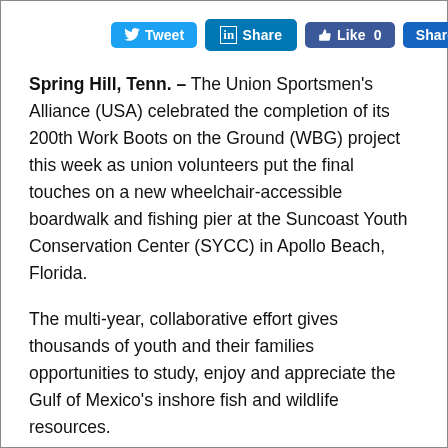[Figure (other): Social media sharing buttons: Tweet, Share (LinkedIn), Like 0 (Facebook), Share]
Spring Hill, Tenn. – The Union Sportsmen's Alliance (USA) celebrated the completion of its 200th Work Boots on the Ground (WBG) project this week as union volunteers put the final touches on a new wheelchair-accessible boardwalk and fishing pier at the Suncoast Youth Conservation Center (SYCC) in Apollo Beach, Florida.
The multi-year, collaborative effort gives thousands of youth and their families opportunities to study, enjoy and appreciate the Gulf of Mexico's inshore fish and wildlife resources.
The project is the USA's largest to date and has drawn support from a coalition of public, private and union partners including the Fish and Wildlife Foundation of Florida, Florida Fish and Wildlife Conservation Commission (FWC), Southern States Millwright Regional Council, The Saunders Foundation, Frank E